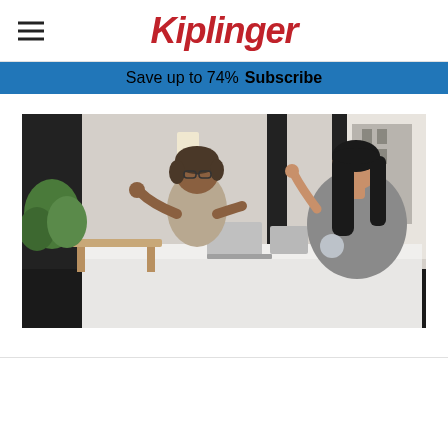Kiplinger
Save up to 74%  Subscribe
[Figure (photo): Two women having a professional meeting at a white desk in a modern office setting, one older woman with glasses gesturing while speaking across from a younger woman with long dark hair, tablets and laptop on the desk, large windows in the background]
SPONSORED